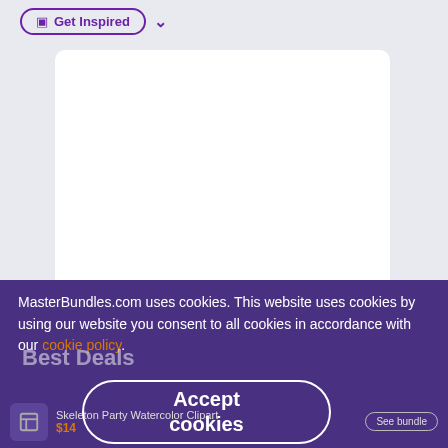[Figure (screenshot): Get Inspired navigation button with purple outline pill shape and dropdown arrow]
[Figure (screenshot): White card with promotional text: Want to save up to 90% on design purchases?]
Want to save up to 90% on design purchases?
[Figure (screenshot): Purple cookie consent overlay with text and Accept cookies button]
MasterBundles.com uses cookies. This website uses cookies by using our website you consent to all cookies in accordance with our cookie policy.
Best Deals
Accept cookies
Skeleton Party Watercolor Clipart $14
See bundle